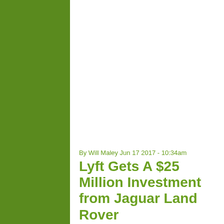By Will Maley Jun 17 2017 - 10:34am
Lyft Gets A $25 Million Investment from Jaguar Land Rover
The race to build autonomous vehicles have seen automakers partner up with companies that you might not expect. Case in point is